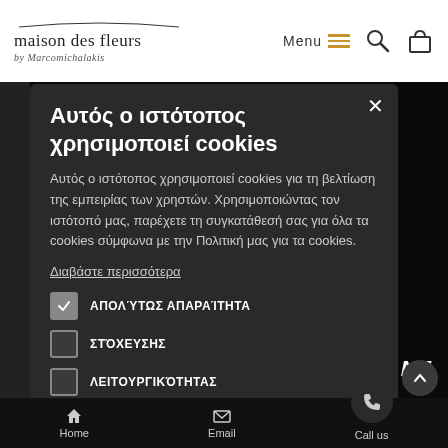[Figure (screenshot): Website header with maison des fleurs logo on left, Menu hamburger icon, search icon, and bag icon on right]
Αυτός ο ιστότοπος χρησιμοποιεί cookies
Αυτός ο ιστότοπος χρησιμοποιεί cookies για τη βελτίωση της εμπειρίας των χρηστών. Χρησιμοποιώντας τον ιστότοπό μας, παρέχετε τη συγκατάθεσή σας για όλα τα cookies σύμφωνα με την Πολιτική μας για τα cookies.
Διαβάστε περισσότερα
ΑΠΟΛΎΤΩΣ ΑΠΑΡΑΊΤΗΤΑ
ΣΤΌΧΕΥΣΗΣ
ΛΕΙΤΟΥΡΓΙΚΌΤΗΤΑΣ
ΜΗ ΤΑΞΙΝΟΜΗΜΈΝΑ
ΑΠΟΔΟΧΉ ΌΛΩΝ
ΑΠΌΡΡΙΨΗ ΌΛΩΝ
Home   Email   Call us